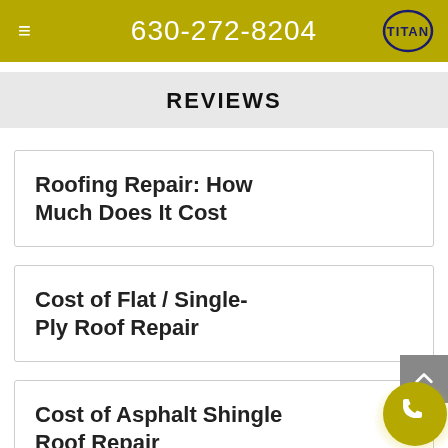630-272-8204
REVIEWS
Roofing Repair: How Much Does It Cost
Cost of Flat / Single-Ply Roof Repair
Cost of Asphalt Shingle Roof Repair